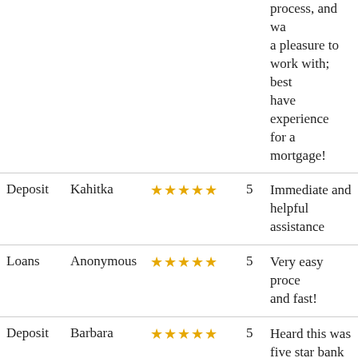| Type | Name | Rating | Score | Comment |
| --- | --- | --- | --- | --- |
|  |  |  |  | process, and was a pleasure to work with; best have experienced for a mortgage! |
| Deposit | Kahitka | ★★★★★ | 5 | Immediate and helpful assistance |
| Loans | Anonymous | ★★★★★ | 5 | Very easy process and fast! |
| Deposit | Barbara | ★★★★★ | 5 | Heard this was five star bank |
| Deposit | Anonymous | ★★★★★ | 5 | Service is always excellent! |
| Loans | Brad and | ★★★★★ | 5 | It was faster and |